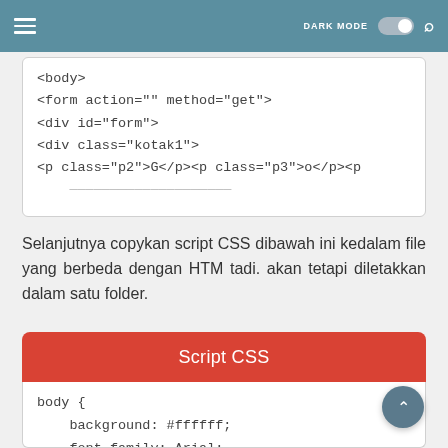DARK MODE  [toggle]  [search]
[Figure (screenshot): HTML code block showing: <body>, <form action="" method="get">, <div id="form">, <div class="kotak1">, <p class="p2">G</p><p class="p3">o</p><p]
Selanjutnya copykan script CSS dibawah ini kedalam file yang berbeda dengan HTM tadi. akan tetapi diletakkan dalam satu folder.
Script CSS
[Figure (screenshot): CSS code block showing: body { background: #ffffff; font-family: Arial;]